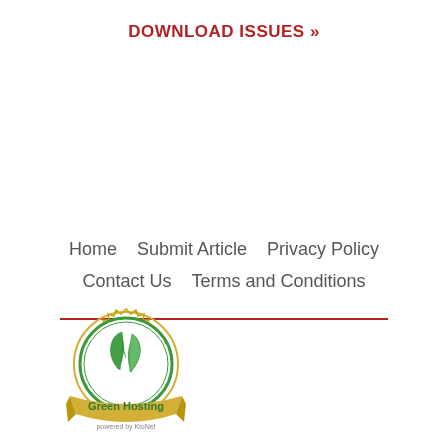DOWNLOAD ISSUES »
Home    Submit Article    Privacy Policy    Contact Us    Terms and Conditions
[Figure (logo): Green Hosting badge logo — circular green gear/sun border with two green leaves inside, gold ribbon banner at bottom reading 'Green Hosting', small text 'powered by KioNet' below]